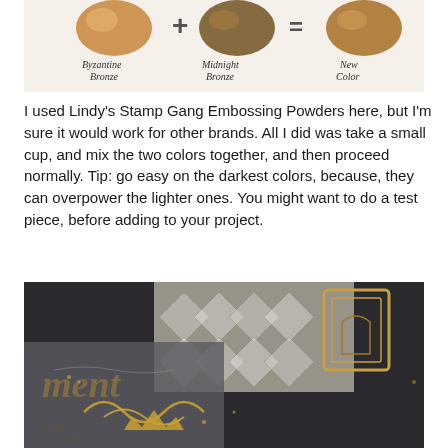[Figure (photo): Three bronze/gold embossing powder swatches labeled 'Byzantine Bronze', 'Midnight Bronze', and 'New Color' with handwritten text and plus/equals signs between them]
I used Lindy's Stamp Gang Embossing Powders here, but I'm sure it would work for other brands. All I did was take a small cup, and mix the two colors together, and then proceed normally. Tip: go easy on the darkest colors, because, they can overpower the lighter ones. You might want to do a test piece, before adding to your project.
[Figure (photo): A decorative craft/scrapbooking project featuring dark background with gold embossed flourishes, the word 'ment' visible, ornate gold decorative elements, and patterned paper backgrounds]